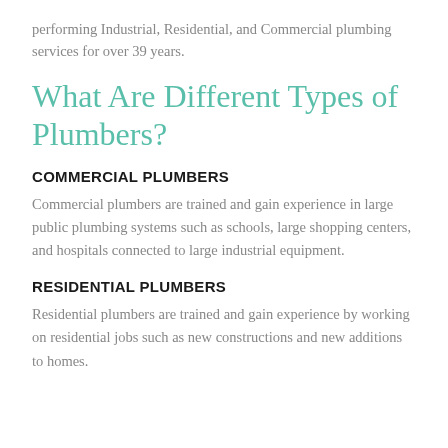performing Industrial, Residential, and Commercial plumbing services for over 39 years.
What Are Different Types of Plumbers?
COMMERCIAL PLUMBERS
Commercial plumbers are trained and gain experience in large public plumbing systems such as schools, large shopping centers, and hospitals connected to large industrial equipment.
RESIDENTIAL PLUMBERS
Residential plumbers are trained and gain experience by working on residential jobs such as new constructions and new additions to homes.